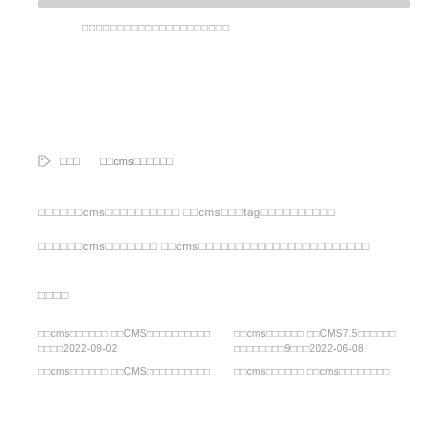□□□□□□□□□□□□□□□□□□□□□
□□□   □□cms□□□□□□
□□□□□□cms□□□□□□□□□□ □□cms□□□tag□□□□□□□□□□
□□□□□□cms□□□□□□□ □□cms□□□□□□□□□□□□□□□□□□□□□□□
□□□□
□□cms□□□□□□ □□CMS□□□□□□□□□□ □□□□2022-09-02   □□cms□□□□□□ □□CMS7.5□□□□□□ □□□□□□□□9□□□2022-06-08
□□cms□□□□□□ □□CMS□□□□□□□□□□   □□cms□□□□□□ □□cms□□□□□□□□